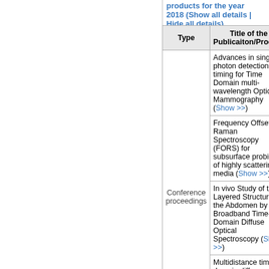products for the year 2018 (Show all details | Hide all details)
| Type | Title of the Publicaiton/Product |
| --- | --- |
| Conference proceedings | Advances in single-photon detection and timing for Time Domain multi-wavelength Optical Mammography (Show >>) |
| Conference proceedings | Frequency Offset Raman Spectroscopy (FORS) for subsurface probing of highly scattering media (Show >>) |
| Conference proceedings | In vivo Study of the Layered Structure on the Abdomen by Broadband Time-Domain Diffuse Optical Spectroscopy (Show >>) |
| Conference proceedings | Multidistance time domain diffuse optical spectroscopy in the assessment of abdominal fat heterogeneity (Show >>) |
| Conference proceedings | Novel approaches to photon detection and ... |